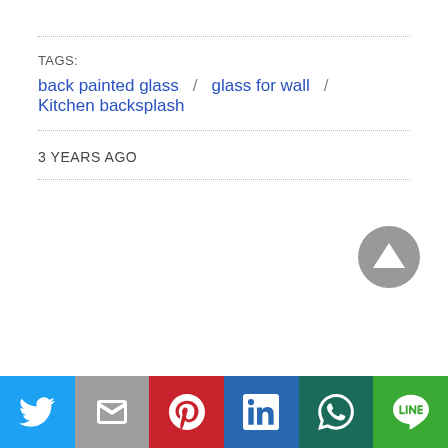TAGS:
back painted glass / glass for wall / Kitchen backsplash
3 YEARS AGO
Twitter | Gmail | Pinterest | LinkedIn | WhatsApp | Line